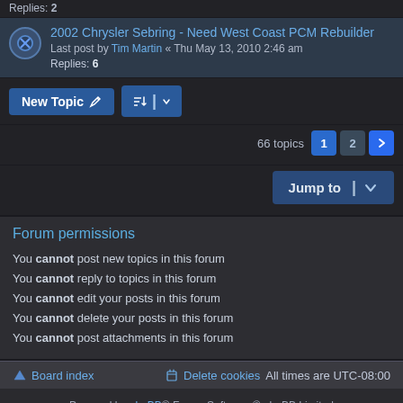Replies: 2
2002 Chrysler Sebring - Need West Coast PCM Rebuilder
Last post by Tim Martin « Thu May 13, 2010 2:46 am
Replies: 6
New Topic | Sort | 66 topics | Page 1 2 >
Jump to
Forum permissions
You cannot post new topics in this forum
You cannot reply to topics in this forum
You cannot edit your posts in this forum
You cannot delete your posts in this forum
You cannot post attachments in this forum
Board index | Delete cookies | All times are UTC-08:00
Powered by phpBB® Forum Software © phpBB Limited
Style by Arty - phpBB 3.3 by MrGaby
Privacy | Terms